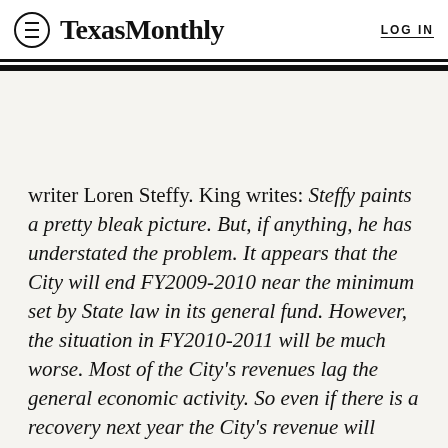Texas Monthly | LOG IN
writer Loren Steffy. King writes: Steffy paints a pretty bleak picture. But, if anything, he has understated the problem. It appears that the City will end FY2009-2010 near the minimum set by State law in its general fund. However, the situation in FY2010-2011 will be much worse. Most of the City's revenues lag the general economic activity. So even if there is a recovery next year the City's revenue will likely not see much growth. The problem is that there are built-in increases for salaries, pension payments and health insurance costs. With these increases and flat revenues, it appears that next year's budget deficit will